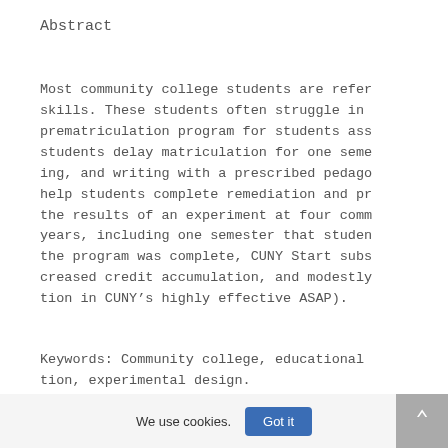Abstract
Most community college students are refer skills. These students often struggle in prematriculation program for students ass students delay matriculation for one seme ing, and writing with a prescribed pedago help students complete remediation and pr the results of an experiment at four comm years, including one semester that studen the program was complete, CUNY Start subs creased credit accumulation, and modestly tion in CUNY’s highly effective ASAP).
Keywords: Community college, educational tion, experimental design.